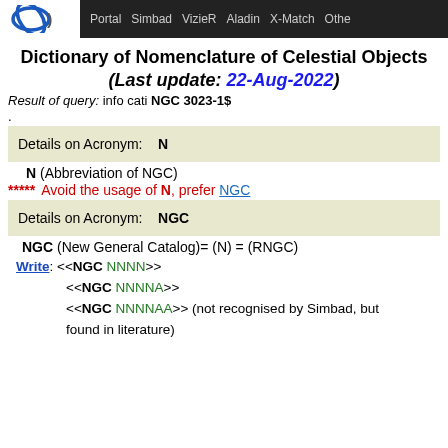Portal | Simbad | VizieR | Aladin | X-Match | Othe
Dictionary of Nomenclature of Celestial Objects
(Last update: 22-Aug-2022)
Result of query: info cati NGC 3023-1$
.
Details on Acronym:   N
N (Abbreviation of NGC)
***** Avoid the usage of N, prefer NGC
Details on Acronym:   NGC
NGC (New General Catalog)= (N) = (RNGC)
Write: <<NGC NNNN>>
<<NGC NNNNA>>
<<NGC NNNNAA>> (not recognised by Simbad, but found in literature)